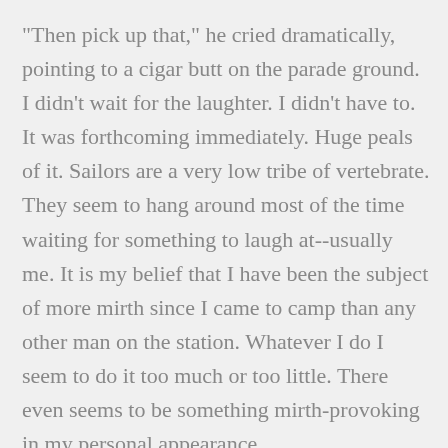"Then pick up that," he cried dramatically, pointing to a cigar butt on the parade ground. I didn't wait for the laughter. I didn't have to. It was forthcoming immediately. Huge peals of it. Sailors are a very low tribe of vertebrate. They seem to hang around most of the time waiting for something to laugh at--usually me. It is my belief that I have been the subject of more mirth since I came to camp than any other man on the station. Whatever I do I seem to do it too much or too little. There even seems to be something mirth-provoking in my personal appearance,